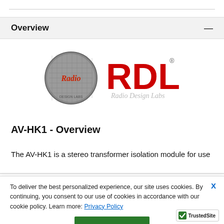Overview
[Figure (logo): RDL Radio Design Labs logo — circular metallic badge with 'Radio' script on left, large red bold 'RDL' letters on right, 'Radio Design Labs' in grey italic below, registered trademark symbol]
AV-HK1 - Overview
The AV-HK1 is a stereo transformer isolation module for use
To deliver the best personalized experience, our site uses cookies. By continuing, you consent to our use of cookies in accordance with our cookie policy. Learn more: Privacy Policy
GOT IT!
[Figure (logo): TrustedSite badge with green checkmark and bold text 'TrustedSite']